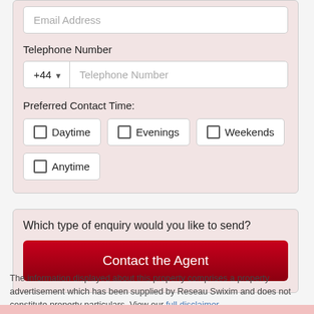Email Address
Telephone Number
+44
Telephone Number
Preferred Contact Time:
Daytime
Evenings
Weekends
Anytime
Which type of enquiry would you like to send?
Contact the Agent
The information displayed about this property comprises a property advertisement which has been supplied by Reseau Swixim and does not constitute property particulars. View our full disclaimer .